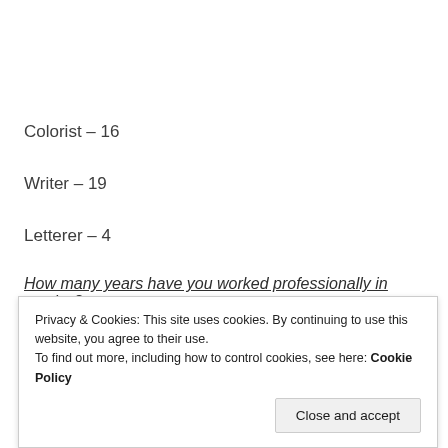Colorist – 16
Writer – 19
Letterer – 4
How many years have you worked professionally in comics?
Privacy & Cookies: This site uses cookies. By continuing to use this website, you agree to their use.
To find out more, including how to control cookies, see here: Cookie Policy
Close and accept